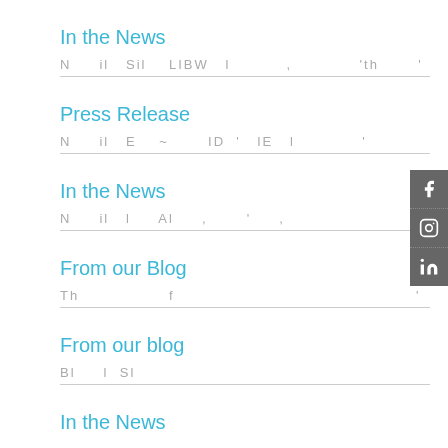In the News
[blurred article text]
Press Release
[blurred article text]
In the News
[blurred article text]
From our Blog
[blurred article text]
From our blog
[blurred article text]
In the News